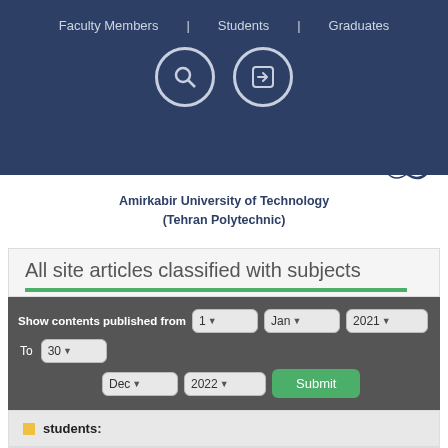Faculty Members | Students | Graduates
Amirkabir University of Technology (Tehran Polytechnic)
All site articles classified with subjects
Show contents published from 1 Jan 2021 To 30 Dec 2022 Submit
students:
Office of Academic Affairs - 2021/01/17 -